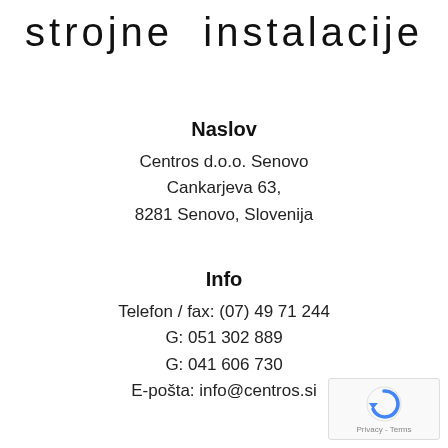strojne instalacije
Naslov
Centros d.o.o. Senovo
Cankarjeva 63,
8281 Senovo, Slovenija
Info
Telefon / fax: (07) 49 71 244
G: 051 302 889
G: 041 606 730
E-pošta: info@centros.si
[Figure (other): reCAPTCHA logo with Privacy - Terms text]